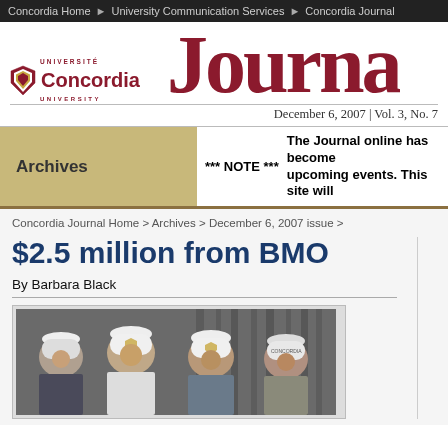Concordia Home ▶ University Communication Services ▶ Concordia Journal
[Figure (logo): Concordia University shield logo with text 'Concordia University']
Journa
December 6, 2007 | Vol. 3, No. 7
Archives
*** NOTE *** The Journal online has become upcoming events. This site will
Concordia Journal Home > Archives > December 6, 2007 issue >
$2.5 million from BMO
By Barbara Black
[Figure (photo): Four people wearing white hard hats with Concordia logo, standing at a construction site]